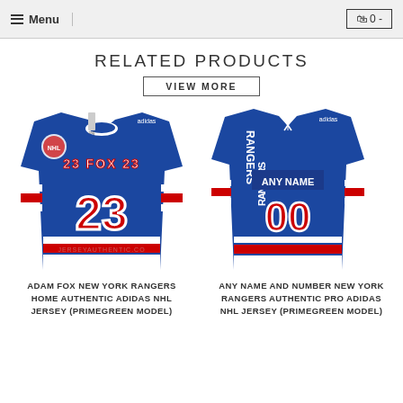Menu   0 -
RELATED PRODUCTS
VIEW MORE
[Figure (photo): Adam Fox #23 New York Rangers blue home hockey jersey with red and white stripes, Adidas brand, number 23 on front]
ADAM FOX NEW YORK RANGERS HOME AUTHENTIC ADIDAS NHL JERSEY (PRIMEGREEN MODEL)
[Figure (photo): Any Name and Number New York Rangers blue home hockey jersey shown front and back, with ANY NAME and 00, Adidas brand]
ANY NAME AND NUMBER NEW YORK RANGERS AUTHENTIC PRO ADIDAS NHL JERSEY (PRIMEGREEN MODEL)